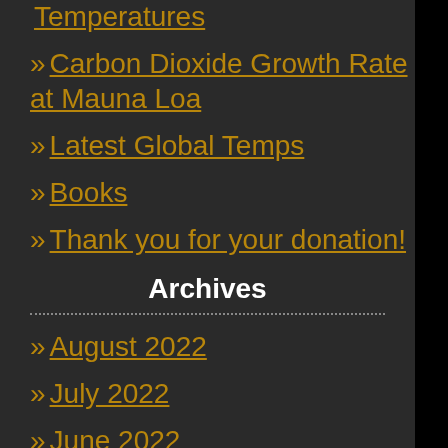» Carbon Dioxide Growth Rate at Mauna Loa
» Latest Global Temps
» Books
» Thank you for your donation!
Archives
» August 2022
» July 2022
» June 2022
» May 2022
» April 2022